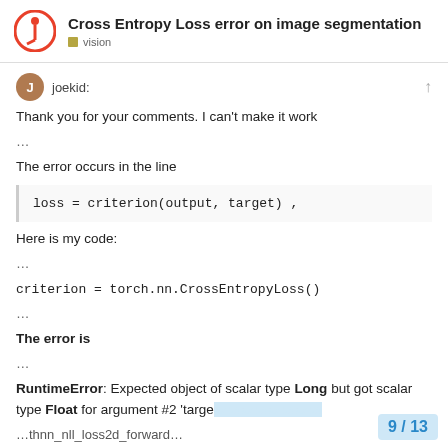Cross Entropy Loss error on image segmentation | vision
joekid:
Thank you for your comments. I can't make it work
...
The error occurs in the line
loss = criterion(output, target) ,
Here is my code:
...
criterion = torch.nn.CrossEntropyLoss()
...
The error is
...
RuntimeError: Expected object of scalar type Long but got scalar type Float for argument #2 'targe...
...thnn_nll_loss2d_forward...